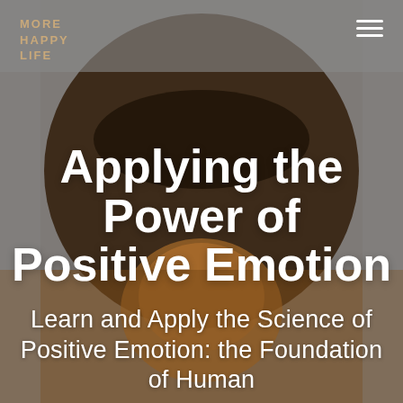MORE HAPPY LIFE
[Figure (photo): Background photo of a person wearing a wide-brimmed hat, with warm brown and gray tones. A dark circular vignette frames the face/hat area in the center of the image.]
Applying the Power of Positive Emotion
Learn and Apply the Science of Positive Emotion: the Foundation of Human